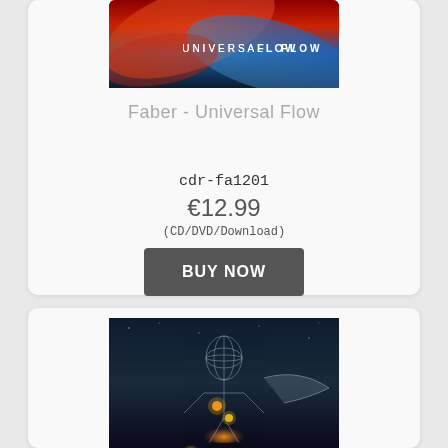[Figure (photo): Album cover for Faber Universal Flow showing abstract red and blue swirling colors with UNIVERSAL FLOW text logo]
Faber - Universal Flow
cdr-fa1201
€12.99
(CD/DVD/Download)
BUY NOW
[Figure (photo): Album cover showing a wireframe human figure with glowing golden orbs in a dark cosmic/space background]